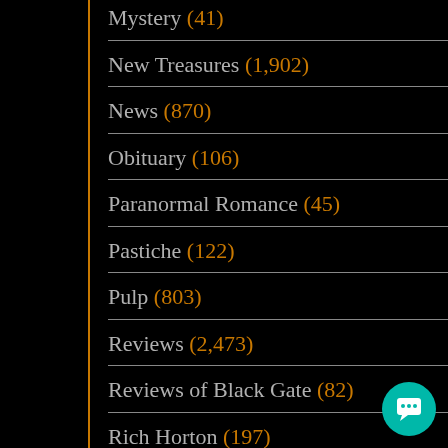Mystery (41)
New Treasures (1,902)
News (870)
Obituary (106)
Paranormal Romance (45)
Pastiche (122)
Pulp (803)
Reviews (2,473)
Reviews of Black Gate (82)
Rich Horton (197)
Robert E. Howard (67)